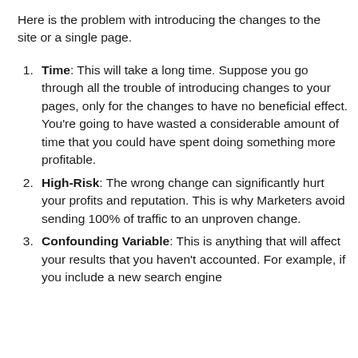Here is the problem with introducing the changes to the site or a single page.
Time: This will take a long time. Suppose you go through all the trouble of introducing changes to your pages, only for the changes to have no beneficial effect. You're going to have wasted a considerable amount of time that you could have spent doing something more profitable.
High-Risk: The wrong change can significantly hurt your profits and reputation. This is why Marketers avoid sending 100% of traffic to an unproven change.
Confounding Variable: This is anything that will affect your results that you haven't accounted. For example, if you include a new search engine